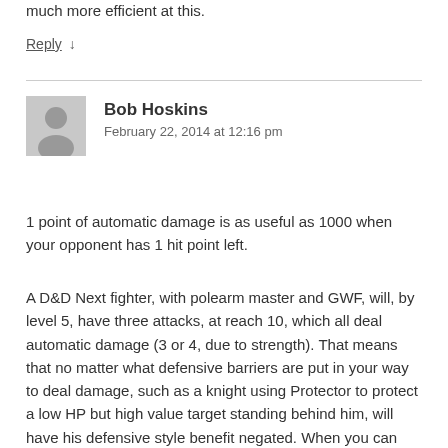much more efficient at this.
Reply ↓
Bob Hoskins
February 22, 2014 at 12:16 pm
1 point of automatic damage is as useful as 1000 when your opponent has 1 hit point left.
A D&D Next fighter, with polearm master and GWF, will, by level 5, have three attacks, at reach 10, which all deal automatic damage (3 or 4, due to strength). That means that no matter what defensive barriers are put in your way to deal damage, such as a knight using Protector to protect a low HP but high value target standing behind him, will have his defensive style benefit negated. When you can guarantee